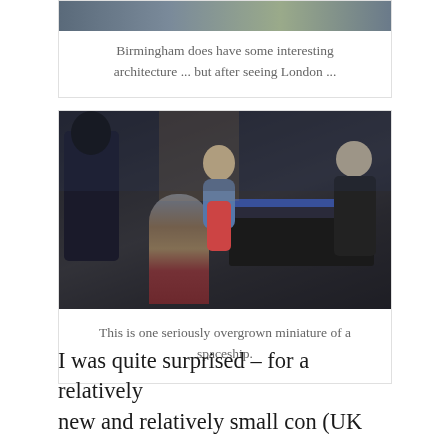[Figure (photo): Partial photo of street scene with people, top of card cropped]
Birmingham does have some interesting architecture ... but after seeing London ...
[Figure (photo): A woman standing in front of a large spaceship miniature/model display at a convention]
This is one seriously overgrown miniature of a spaceship.
I was quite surprised – for a relatively new and relatively small con (UK